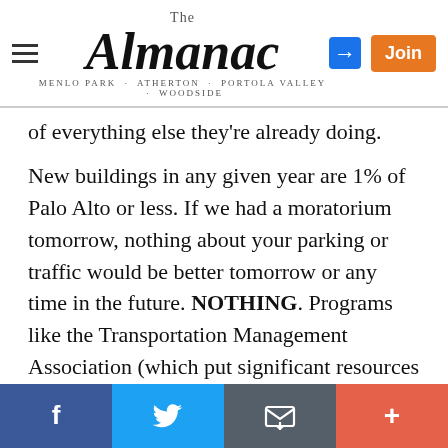The Almanac — Menlo Park · Atherton · Portola Valley · Woodside
of everything else they're already doing.
New buildings in any given year are 1% of Palo Alto or less. If we had a moratorium tomorrow, nothing about your parking or traffic would be better tomorrow or any time in the future. NOTHING. Programs like the Transportation Management Association (which put significant resources to public transportation, shuttles, Lyft, etc to get people out of their cars), RPPP, looking at building garages and looking at new tech for garages - all of that will affect the entire city and not just 1%. They are going to be effective at actually undoing some of our problems. A cap or even a moratorium don't undo anything.
I'll add that it was fully his idea and mission from me to...
Facebook | Twitter | Email | More